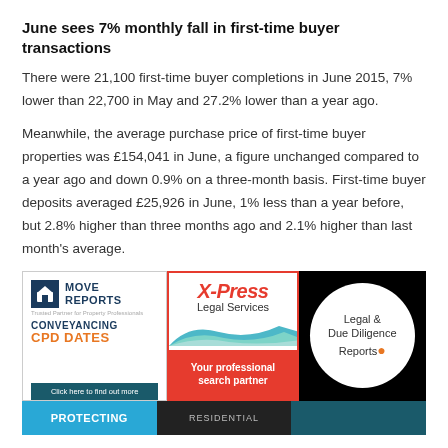June sees 7% monthly fall in first-time buyer transactions
There were 21,100 first-time buyer completions in June 2015, 7% lower than 22,700 in May and 27.2% lower than a year ago.
Meanwhile, the average purchase price of first-time buyer properties was £154,041 in June, a figure unchanged compared to a year ago and down 0.9% on a three-month basis. First-time buyer deposits averaged £25,926 in June, 1% less than a year before, but 2.8% higher than three months ago and 2.1% higher than last month's average.
[Figure (logo): Move Reports - Conveyancing CPD Dates advertisement]
[Figure (logo): X-Press Legal Services - Your professional search partner advertisement]
[Figure (logo): Legal & Due Diligence Reports advertisement on black background]
[Figure (logo): Protecting - banner ad (blue)]
[Figure (logo): Residential - banner ad (dark)]
[Figure (logo): Third banner ad (teal)]